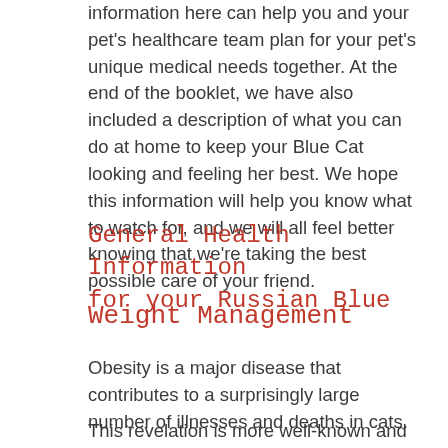information here can help you and your pet's healthcare team plan for your pet's unique medical needs together. At the end of the booklet, we have also included a description of what you can do at home to keep your Blue Cat looking and feeling her best. We hope this information will help you know what to watch for, and we will all feel better knowing that we're taking the best possible care of your friend.
General Health Information for your Russian Blue
Weight Management
Obesity is a major disease that contributes to a surprisingly large number of illnesses and deaths in cats.
This revelation is more well-known and well-understood today than in the last few decades, but too